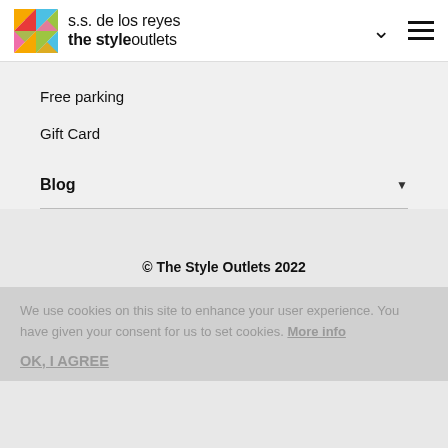s.s. de los reyes the style outlets
Free parking
Gift Card
Blog
© The Style Outlets 2022
We use cookies on this site to enhance your user experience. You have given your consent for us to set cookies. More info
OK, I AGREE